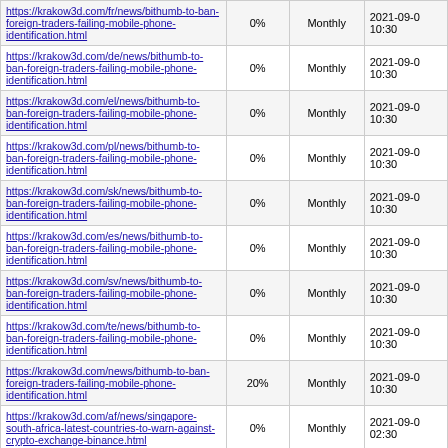| https://krakow3d.com/fr/news/bithumb-to-ban-foreign-traders-failing-mobile-phone-identification.html | 0% | Monthly | 2021-09-0 10:30 |
| https://krakow3d.com/de/news/bithumb-to-ban-foreign-traders-failing-mobile-phone-identification.html | 0% | Monthly | 2021-09-0 10:30 |
| https://krakow3d.com/el/news/bithumb-to-ban-foreign-traders-failing-mobile-phone-identification.html | 0% | Monthly | 2021-09-0 10:30 |
| https://krakow3d.com/pl/news/bithumb-to-ban-foreign-traders-failing-mobile-phone-identification.html | 0% | Monthly | 2021-09-0 10:30 |
| https://krakow3d.com/sk/news/bithumb-to-ban-foreign-traders-failing-mobile-phone-identification.html | 0% | Monthly | 2021-09-0 10:30 |
| https://krakow3d.com/es/news/bithumb-to-ban-foreign-traders-failing-mobile-phone-identification.html | 0% | Monthly | 2021-09-0 10:30 |
| https://krakow3d.com/sv/news/bithumb-to-ban-foreign-traders-failing-mobile-phone-identification.html | 0% | Monthly | 2021-09-0 10:30 |
| https://krakow3d.com/te/news/bithumb-to-ban-foreign-traders-failing-mobile-phone-identification.html | 0% | Monthly | 2021-09-0 10:30 |
| https://krakow3d.com/news/bithumb-to-ban-foreign-traders-failing-mobile-phone-identification.html | 20% | Monthly | 2021-09-0 10:30 |
| https://krakow3d.com/af/news/singapore-south-africa-latest-countries-to-warn-against-crypto-exchange-binance.html | 0% | Monthly | 2021-09-0 02:30 |
| https://krakow3d.com/az/news/singapore-south-africa-latest-countries-to-warn-against-crypto-exchange-binance.html | 0% | Monthly | 2021-09-0 02:30 |